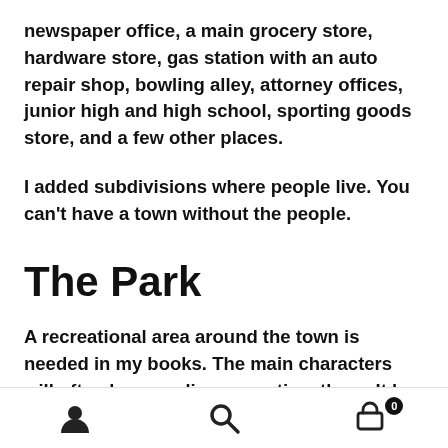newspaper office, a main grocery store, hardware store, gas station with an auto repair shop, bowling alley, attorney offices, junior high and high school, sporting goods store, and a few other places.
I added subdivisions where people live. You can't have a town without the people.
The Park
A recreational area around the town is needed in my books. The main characters will often be spending some time there. It has all kinds of activities: swimming,
[user icon] [search icon] [cart icon with 0 badge]